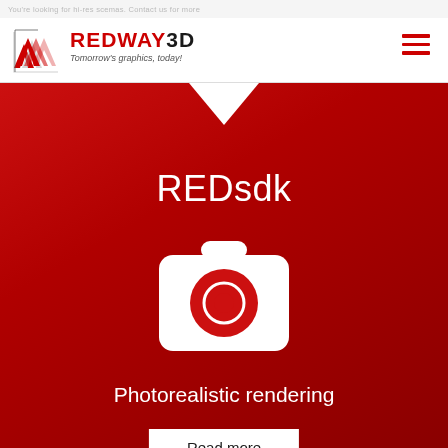You're looking for hi-res scemas. Contact us for more details
[Figure (logo): Redway3D logo with abstract geometric icon, text REDWAY3D and tagline 'Tomorrow's graphics, today!']
[Figure (illustration): Red gradient background section with white downward chevron at top, large white camera icon in center, title 'REDsdk', subtitle 'Photorealistic rendering', and a 'Read more' white button]
REDsdk
Photorealistic rendering
Read more